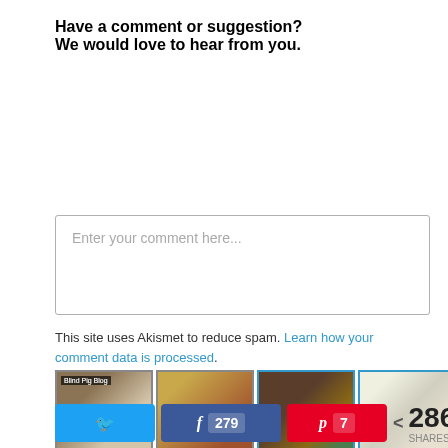Have a comment or suggestion? We would love to hear from you.
Enter your comment here...
This site uses Akismet to reduce spam. Learn how your comment data is processed.
[Figure (photo): Four thumbnail images in a horizontal row showing food/blog photos]
279  7  < 286 SHARES (Twitter, Facebook, Pinterest share buttons)